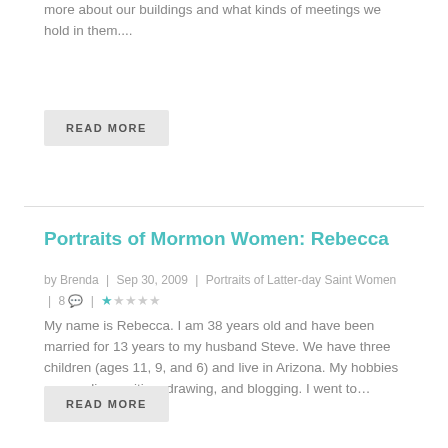more about our buildings and what kinds of meetings we hold in them....
READ MORE
Portraits of Mormon Women: Rebecca
by Brenda | Sep 30, 2009 | Portraits of Latter-day Saint Women | 8 💬 | ★☆☆☆☆
My name is Rebecca. I am 38 years old and have been married for 13 years to my husband Steve. We have three children (ages 11, 9, and 6) and live in Arizona. My hobbies are reading, writing, drawing, and blogging. I went to…
READ MORE